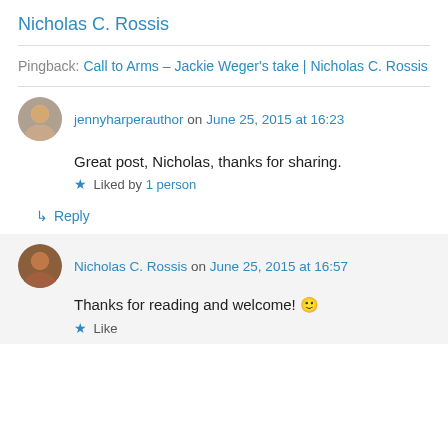Nicholas C. Rossis
Pingback: Call to Arms – Jackie Weger's take | Nicholas C. Rossis
jennyharperauthor on June 25, 2015 at 16:23
Great post, Nicholas, thanks for sharing.
Liked by 1 person
↳ Reply
Nicholas C. Rossis on June 25, 2015 at 16:57
Thanks for reading and welcome! 🙂
★ Like